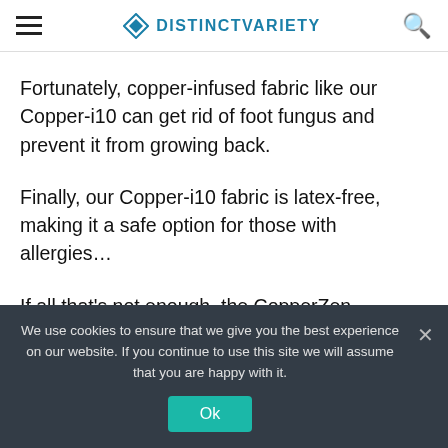DISTINCTVARIETY
Fortunately, copper-infused fabric like our Copper-i10 can get rid of foot fungus and prevent it from growing back.
Finally, our Copper-i10 fabric is latex-free, making it a safe option for those with allergies…
If all that's not enough, the CopperZen delivers…
We use cookies to ensure that we give you the best experience on our website. If you continue to use this site we will assume that you are happy with it.